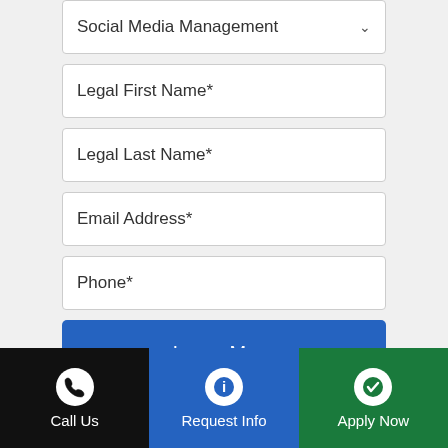Social Media Management
Legal First Name*
Legal Last Name*
Email Address*
Phone*
Learn More
Apply FREE This Week*
By submitting contact information through this form, I agree that Liberty University and its affiliates may call and/or text me about its offerings by any phone number I have provided and
Call Us
Request Info
Apply Now